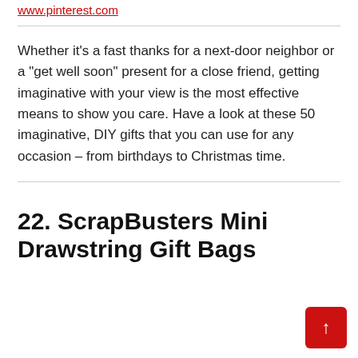www.pinterest.com
Whether it's a fast thanks for a next-door neighbor or a "get well soon" present for a close friend, getting imaginative with your view is the most effective means to show you care. Have a look at these 50 imaginative, DIY gifts that you can use for any occasion – from birthdays to Christmas time.
22. ScrapBusters Mini Drawstring Gift Bags